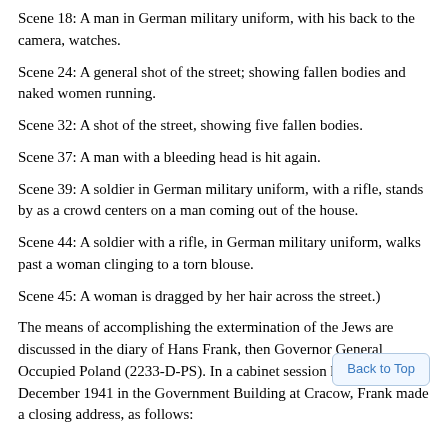Scene 18: A man in German military uniform, with his back to the camera, watches.
Scene 24: A general shot of the street; showing fallen bodies and naked women running.
Scene 32: A shot of the street, showing five fallen bodies.
Scene 37: A man with a bleeding head is hit again.
Scene 39: A soldier in German military uniform, with a rifle, stands by as a crowd centers on a man coming out of the house.
Scene 44: A soldier with a rifle, in German military uniform, walks past a woman clinging to a torn blouse.
Scene 45: A woman is dragged by her hair across the street.)
The means of accomplishing the extermination of the Jews are discussed in the diary of Hans Frank, then Governor General Occupied Poland (2233-D-PS). In a cabinet session held on 16 December 1941 in the Government Building at Cracow, Frank made a closing address, as follows: